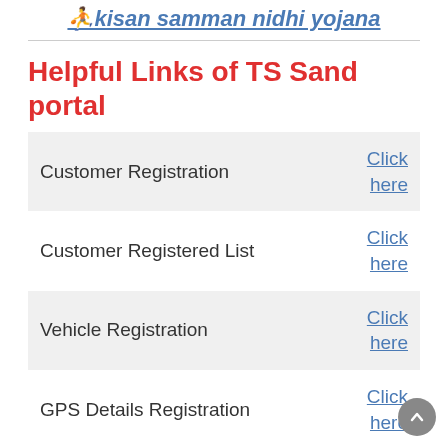kisan samman nidhi yojana
Helpful Links of TS Sand portal
|  |  |
| --- | --- |
| Customer Registration | Click here |
| Customer Registered List | Click here |
| Vehicle Registration | Click here |
| GPS Details Registration | Click here |